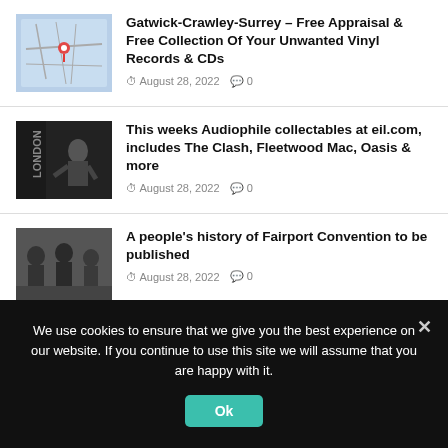[Figure (photo): Map thumbnail showing Gatwick-Crawley-Surrey area with a red location pin]
Gatwick-Crawley-Surrey – Free Appraisal & Free Collection Of Your Unwanted Vinyl Records & CDs
August 28, 2022   0
[Figure (photo): Black and white album cover photo showing a musician, possibly The Clash London Calling]
This weeks Audiophile collectables at eil.com, includes The Clash, Fleetwood Mac, Oasis & more
August 28, 2022   0
[Figure (photo): Black and white band photo showing Fairport Convention members]
A people's history of Fairport Convention to be published
August 28, 2022   0
We use cookies to ensure that we give you the best experience on our website. If you continue to use this site we will assume that you are happy with it.